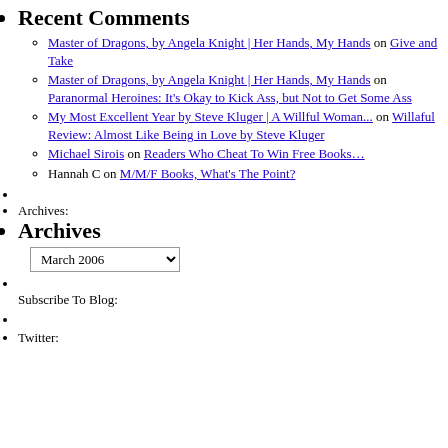Recent Comments
Master of Dragons, by Angela Knight | Her Hands, My Hands on Give and Take
Master of Dragons, by Angela Knight | Her Hands, My Hands on Paranormal Heroines: It's Okay to Kick Ass, but Not to Get Some Ass
My Most Excellent Year by Steve Kluger | A Willful Woman... on Willaful Review: Almost Like Being in Love by Steve Kluger
Michael Sirois on Readers Who Cheat To Win Free Books…
Hannah C on M/M/F Books, What's The Point?
Archives:
Archives
Subscribe To Blog:
Twitter: